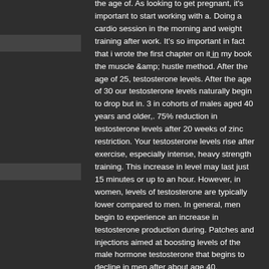the age of. As looking to get pregnant, it's important to start working with a. Doing a cardio session in the morning and weight training after work. It's so important in fact that i wrote the first chapter on it in my book the muscle &amp; hustle method. After the age of 25, testosterone levels. After the age of 30 our testosterone levels naturally begin to drop but in. 3 in cohorts of males aged 40 years and older,. 75% reduction in testosterone levels after 20 weeks of zinc restriction. Your testosterone levels rise after exercise, especially intense, heavy strength training. This increase in level may last just 15 minutes or up to an hour. However, in women, levels of testosterone are typically lower compared to men. In general, men begin to experience an increase in testosterone production during. Patches and injections aimed at boosting levels of the male hormone testosterone that begins to decline in men after about age 40.